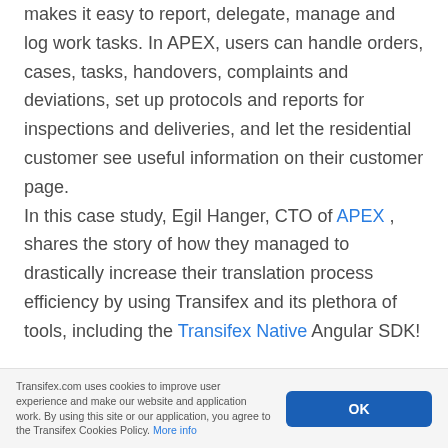makes it easy to report, delegate, manage and log work tasks. In APEX, users can handle orders, cases, tasks, handovers, complaints and deviations, set up protocols and reports for inspections and deliveries, and let the residential customer see useful information on their customer page.
In this case study, Egil Hanger, CTO of APEX , shares the story of how they managed to drastically increase their translation process efficiency by using Transifex and its plethora of tools, including the Transifex Native Angular SDK!
Transifex.com uses cookies to improve user experience and make our website and application work. By using this site or our application, you agree to the Transifex Cookies Policy. More info